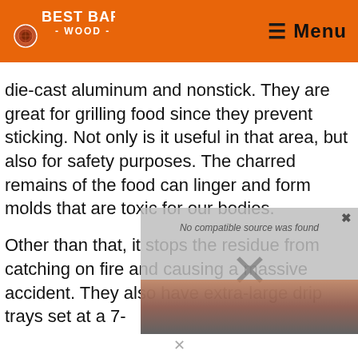Best Barbecue Wood — Menu
die-cast aluminum and nonstick. They are great for grilling food since they prevent sticking. Not only is it useful in that area, but also for safety purposes. The charred remains of the food can linger and form molds that are toxic for our bodies.
Other than that, it stops the residue from catching on fire and causing a massive accident. They also have extra-large drip trays set at a 7-
[Figure (screenshot): Video player overlay with 'No compatible source was found' message and a large X close button, partially showing a barbecue/grilling image underneath]